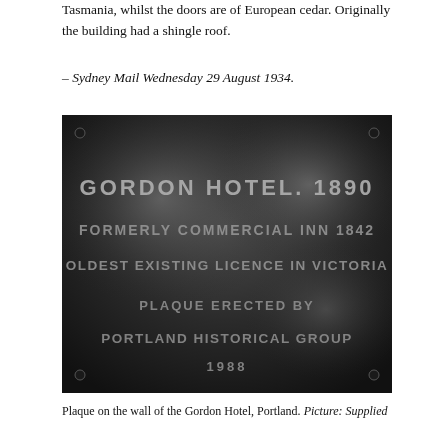Tasmania, whilst the doors are of European cedar. Originally the building had a shingle roof.
– Sydney Mail Wednesday 29 August 1934.
[Figure (photo): Black and white photograph of a metal plaque on the wall of the Gordon Hotel, Portland. The plaque reads: GORDON HOTEL. 1890 / FORMERLY COMMERCIAL INN 1842 / OLDEST EXISTING LICENCE IN VICTORIA / PLAQUE ERECTED BY / PORTLAND HISTORICAL GROUP / 1988]
Plaque on the wall of the Gordon Hotel, Portland. Picture: Supplied